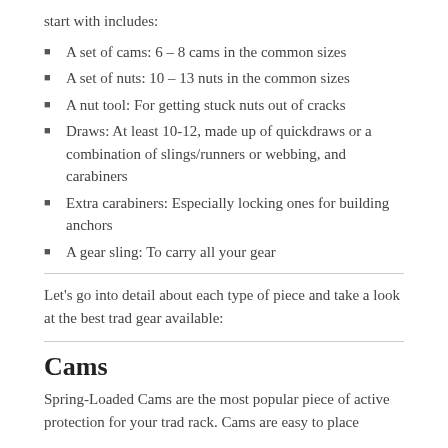start with includes:
A set of cams: 6 – 8 cams in the common sizes
A set of nuts: 10 – 13 nuts in the common sizes
A nut tool: For getting stuck nuts out of cracks
Draws: At least 10-12, made up of quickdraws or a combination of slings/runners or webbing, and carabiners
Extra carabiners: Especially locking ones for building anchors
A gear sling: To carry all your gear
Let's go into detail about each type of piece and take a look at the best trad gear available:
Cams
Spring-Loaded Cams are the most popular piece of active protection for your trad rack. Cams are easy to place